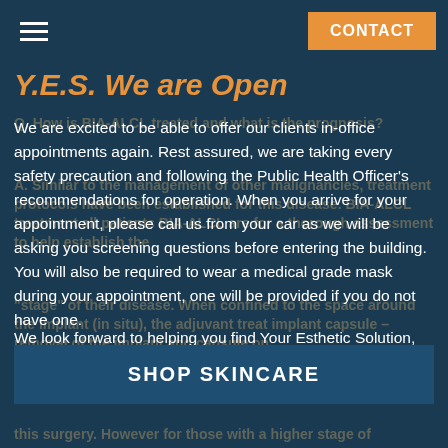CONTACT
Y.E.S. We are Open
We are excited to be able to offer our clients in-office appointments again. Rest assured, we are taking every safety precaution and following the Public Health Officer's recommendations for operation. When you arrive for your appointment, please call us from your car as we will be asking you screening questions before entering the building. You will also be required to wear a medical grade mask during your appointment, one will be provided if you do not have one.

We look forward to helping you find Your Esthetic Solution, call (604) 888-9378 to schedule your appointment today.
SHOP SKINCARE